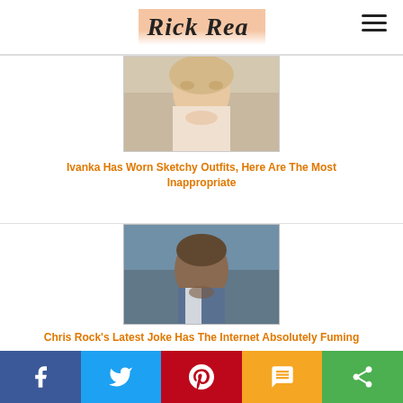Rick Rea
[Figure (photo): Photo of a smiling blonde woman (Ivanka Trump)]
Ivanka Has Worn Sketchy Outfits, Here Are The Most Inappropriate
[Figure (photo): Photo of a man (Chris Rock) with a serious expression]
Chris Rock's Latest Joke Has The Internet Absolutely Fuming
Facebook Twitter Pinterest SMS Share